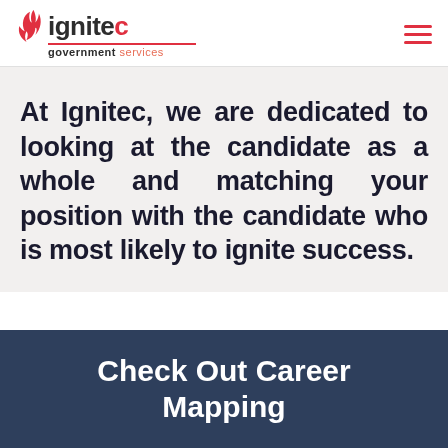ignitec government services
At Ignitec, we are dedicated to looking at the candidate as a whole and matching your position with the candidate who is most likely to ignite success.
Check Out Career Mapping